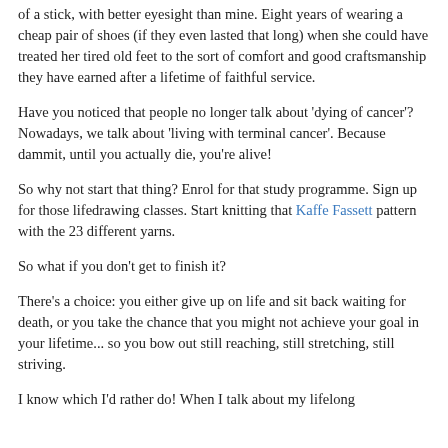of a stick, with better eyesight than mine. Eight years of wearing a cheap pair of shoes (if they even lasted that long) when she could have treated her tired old feet to the sort of comfort and good craftsmanship they have earned after a lifetime of faithful service.
Have you noticed that people no longer talk about 'dying of cancer'? Nowadays, we talk about 'living with terminal cancer'. Because dammit, until you actually die, you're alive!
So why not start that thing? Enrol for that study programme. Sign up for those lifedrawing classes. Start knitting that Kaffe Fassett pattern with the 23 different yarns.
So what if you don't get to finish it?
There's a choice: you either give up on life and sit back waiting for death, or you take the chance that you might not achieve your goal in your lifetime... so you bow out still reaching, still stretching, still striving.
I know which I'd rather do! When I talk about my lifelong learning, and full-time and for it to be a benchmark